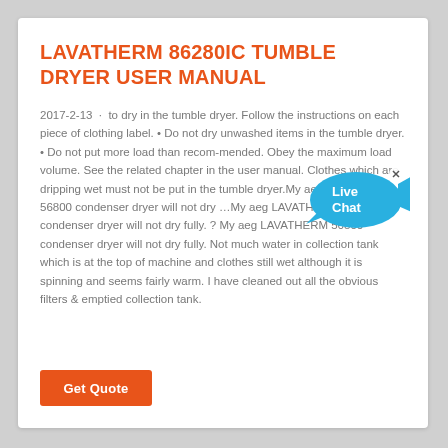LAVATHERM 86280IC TUMBLE DRYER USER MANUAL
2017-2-13 · to dry in the tumble dryer. Follow the instructions on each piece of clothing label. • Do not dry unwashed items in the tumble dryer. • Do not put more load than recom-mended. Obey the maximum load volume. See the related chapter in the user manual. Clothes which are dripping wet must not be put in the tumble dryer.My aeg LAVATHERM 56800 condenser dryer will not dry …My aeg LAVATHERM 56800 condenser dryer will not dry fully. ? My aeg LAVATHERM 56800 condenser dryer will not dry fully. Not much water in collection tank which is at the top of machine and clothes still wet although it is spinning and seems fairly warm. I have cleaned out all the obvious filters & emptied collection tank.
[Figure (other): Live Chat bubble graphic in blue with speech bubble shape and text 'Live Chat']
Get Quote